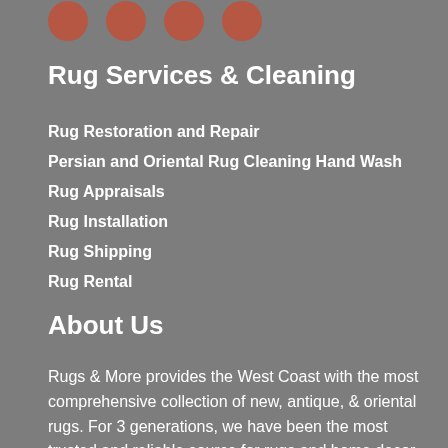[Figure (illustration): Partial view of decorative circular icon buttons (terracotta/red-orange color) at the top of the page]
Rug Services & Cleaning
Rug Restoration and Repair
Persian and Oriental Rug Cleaning Hand Wash
Rug Appraisals
Rug Installation
Rug Shipping
Rug Rental
About Us
Rugs & More provides the West Coast with the most comprehensive collection of new, antique, & oriental rugs. For 3 generations, we have been the most trusted and reliable source for rugs and home decor. Voted best of Santa